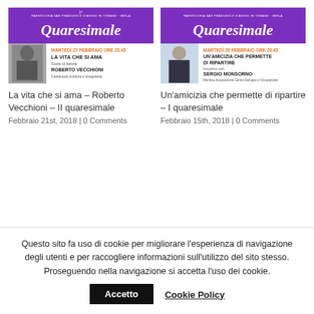[Figure (screenshot): Event flyer for Quaresimale with purple header, orange text 'MARTEDÌ 27 FEBBRAIO ORE 20.45', title 'LA VITA CHE SI AMA', subtitle 'Storie di felicità', speaker 'ROBERTO VECCHIONI', role 'Cantautore scrittore e insegnante', with black-and-white photo of man]
La vita che si ama – Roberto Vecchioni – II quaresimale
Febbraio 21st, 2018 | 0 Comments
[Figure (screenshot): Event flyer for Quaresimale with purple header, orange text 'MARTEDÌ 20 FEBBRAIO ORE 20.45', title 'UN'AMICIZIA CHE PERMETTE DI RIPARTIRE', speaker 'SERGIO MONSORNO', role 'Membro Associazione Centro Sviluppo e Occupazione', with photo of man in suit]
Un'amicizia che permette di ripartire – I quaresimale
Febbraio 15th, 2018 | 0 Comments
Questo sito fa uso di cookie per migliorare l'esperienza di navigazione degli utenti e per raccogliere informazioni sull'utilizzo del sito stesso.
Proseguendo nella navigazione si accetta l'uso dei cookie.
Accetto
Cookie Policy